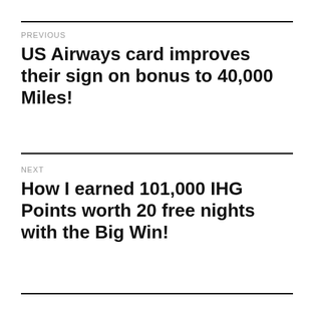PREVIOUS
US Airways card improves their sign on bonus to 40,000 Miles!
NEXT
How I earned 101,000 IHG Points worth 20 free nights with the Big Win!